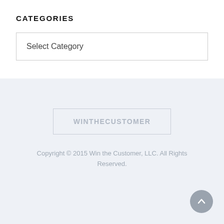CATEGORIES
Select Category
[Figure (logo): WINTHECUSTOMER text logo in a bordered rectangle]
Copyright © 2015 Win the Customer, LLC. All Rights Reserved.